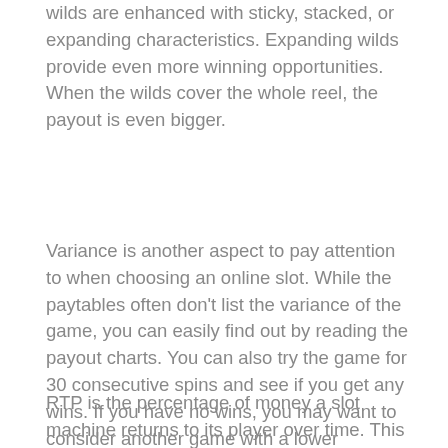wilds are enhanced with sticky, stacked, or expanding characteristics. Expanding wilds provide even more winning opportunities. When the wilds cover the whole reel, the payout is even bigger.
Variance is another aspect to pay attention to when choosing an online slot. While the paytables often don't list the variance of the game, you can easily find out by reading the payout charts. You can also try the game for 30 consecutive spins and see if you get any wins. If you have no wins, you may want to consider another game with a lower variance. You'll likely win less frequently but will also be rewarded with higher payouts.
RTP is the percentage of money a slot machine returns to its player over time. This percentage is